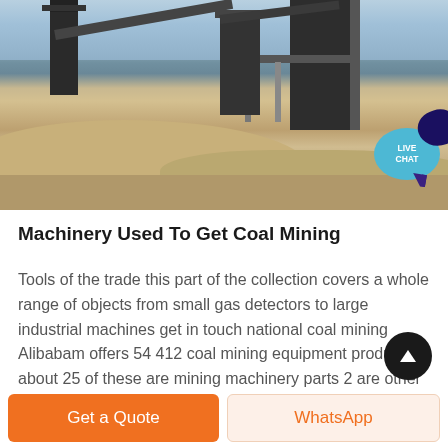[Figure (photo): Photograph of a coal mining industrial facility with conveyor belts, towers, and structures. A 'LIVE CHAT' bubble is overlaid in the top-right corner.]
Machinery Used To Get Coal Mining
Tools of the trade this part of the collection covers a whole range of objects from small gas detectors to large industrial machines get in touch national coal mining Alibabam offers 54 412 coal mining equipment products about 25 of these are mining machinery parts 2 are other mining machines and